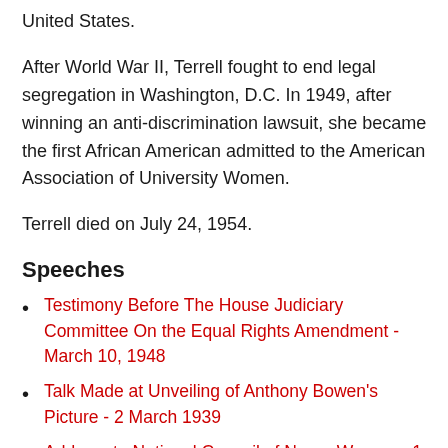United States.
After World War II, Terrell fought to end legal segregation in Washington, D.C. In 1949, after winning an anti-discrimination lawsuit, she became the first African American admitted to the American Association of University Women.
Terrell died on July 24, 1954.
Speeches
Testimony Before The House Judiciary Committee On the Equal Rights Amendment - March 10, 1948
Talk Made at Unveiling of Anthony Bowen's Picture - 2 March 1939
Address to National Council of Negro Women - 1 May 1938